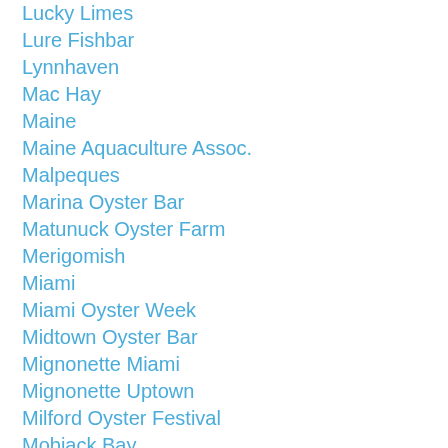Lucky Limes
Lure Fishbar
Lynnhaven
Mac Hay
Maine
Maine Aquaculture Assoc.
Malpeques
Marina Oyster Bar
Matunuck Oyster Farm
Merigomish
Miami
Miami Oyster Week
Midtown Oyster Bar
Mignonette Miami
Mignonette Uptown
Milford Oyster Festival
Mobjack Bay
Modern Farmer
Montreal
Montreal Oysterfest
Naked Cowboy Oysters